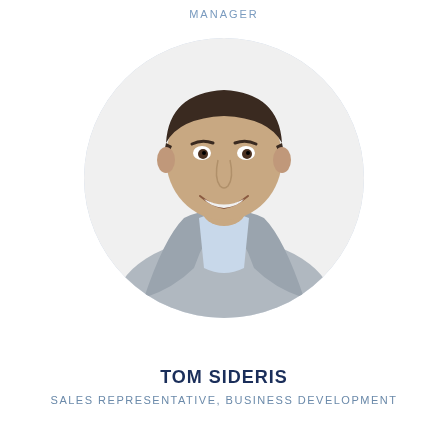MANAGER
[Figure (photo): Headshot photo of Tom Sideris, a smiling man in a grey blazer and light blue dress shirt, displayed in a circular crop against a white background.]
TOM SIDERIS
SALES REPRESENTATIVE, BUSINESS DEVELOPMENT